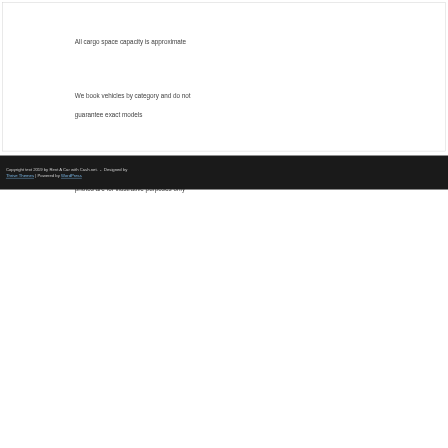All cargo space capacity is approximate
We book vehicles by category and do not guarantee exact models
Seating configurations and luggage space photos are for illustrative purposes only
Copyright text 2019 by Rent A Car with Cash.net.  -  Designed by Thrive Themes | Powered by WordPress